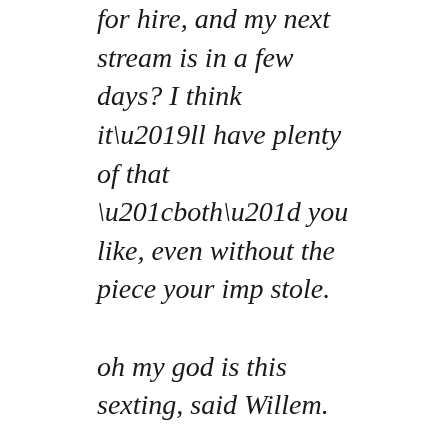for hire, and my next stream is in a few days? I think it'll have plenty of that “both” you like, even without the piece your imp stole.

oh my god is this sexting, said Willem.